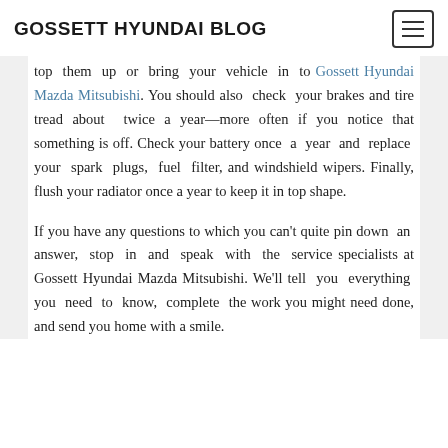GOSSETT HYUNDAI BLOG
top them up or bring your vehicle in to Gossett Hyundai Mazda Mitsubishi. You should also check your brakes and tire tread about twice a year—more often if you notice that something is off. Check your battery once a year and replace your spark plugs, fuel filter, and windshield wipers. Finally, flush your radiator once a year to keep it in top shape.
If you have any questions to which you can't quite pin down an answer, stop in and speak with the service specialists at Gossett Hyundai Mazda Mitsubishi. We'll tell you everything you need to know, complete the work you might need done, and send you home with a smile.